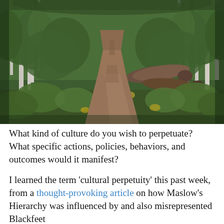[Figure (photo): A narrow dirt forest trail winding through dense green trees and undergrowth, with fallen logs visible to the right side. Taken in summer with lush foliage.]
What kind of culture do you wish to perpetuate?  What specific actions, policies, behaviors, and outcomes would it manifest?
I learned the term ‘cultural perpetuity’ this past week, from a thought-provoking article on how Maslow’s Hierarchy was influenced by and also misrepresented Blackfeet